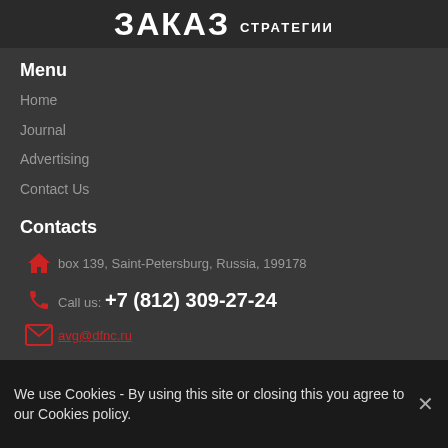ЗАКАЗ СТРАТЕГИИ
Menu
Home
Journal
Advertising
Contact Us
Contacts
box 139, Saint-Petersburg, Russia, 199178
Call us: +7 (812) 309-27-24
avg@dfnc.ru
[Twitter icon]
We use Cookies - By using this site or closing this you agree to our Cookies policy.